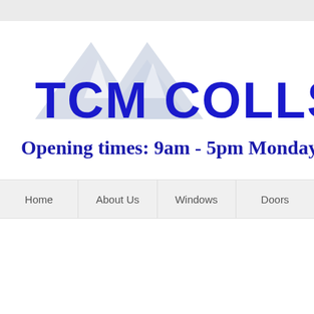[Figure (logo): TCM or TOM Construction company logo with geometric triangular mountain-like shape in light blue/gray and bold blue text reading TCM COLLSCUON or similar company name, partially cropped]
Opening times: 9am - 5pm Monday
Home
About Us
Windows
Doors